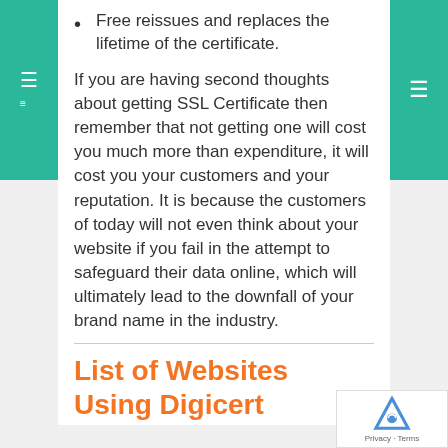Free reissues and replaces the lifetime of the certificate.
If you are having second thoughts about getting SSL Certificate then remember that not getting one will cost you much more than expenditure, it will cost you your customers and your reputation. It is because the customers of today will not even think about your website if you fail in the attempt to safeguard their data online, which will ultimately lead to the downfall of your brand name in the industry.
List of Websites Using Digicert